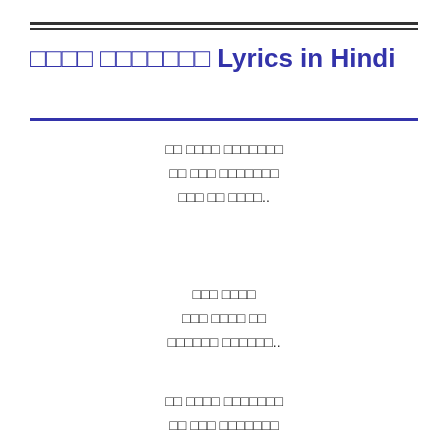□□□□ □□□□□□□ Lyrics in Hindi
□□ □□□□ □□□□□□□
□□ □□□ □□□□□□□
□□□ □□ □□□□..
□□□ □□□□
□□□ □□□□ □□
□□□□□□ □□□□□□..
□□ □□□□ □□□□□□□
□□ □□□ □□□□□□□